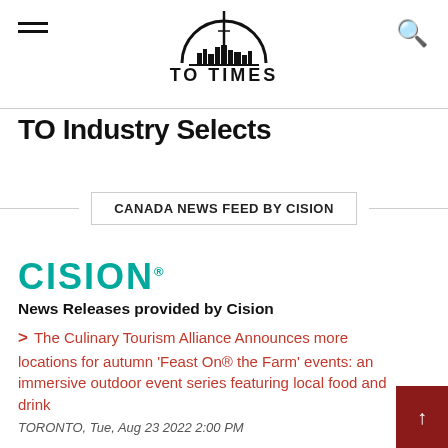TO TIMES (logo with Toronto skyline)
TO Industry Selects
CANADA NEWS FEED BY CISION
[Figure (logo): CISION logo in teal/green color with trademark symbol]
News Releases provided by Cision
The Culinary Tourism Alliance Announces more locations for autumn 'Feast On® the Farm' events: an immersive outdoor event series featuring local food and drink
TORONTO, Tue, Aug 23 2022 2:00 PM